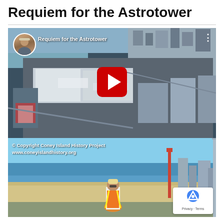Requiem for the Astrotower
[Figure (screenshot): YouTube video thumbnail showing aerial view of Coney Island with user avatar, video title 'Requiem for the Astrotower', three-dot menu, and red play button overlay]
[Figure (photo): Photo of man in orange safety vest and hard hat standing on elevated structure with Coney Island beach, ocean, and city skyline behind him. Copyright text: © Copyright Coney Island History Project www.coneyislandhistory.org. reCAPTCHA Privacy - Terms badge in bottom right.]